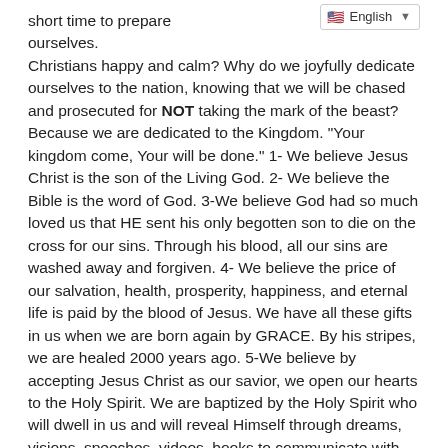short time to prepare ourselves. Christians happy and calm? Why do we joyfully dedicate ourselves to the nation, knowing that we will be chased and prosecuted for NOT taking the mark of the beast? Because we are dedicated to the Kingdom. "Your kingdom come, Your will be done." 1- We believe Jesus Christ is the son of the Living God. 2- We believe the Bible is the word of God. 3-We believe God had so much loved us that HE sent his only begotten son to die on the cross for our sins. Through his blood, all our sins are washed away and forgiven. 4- We believe the price of our salvation, health, prosperity, happiness, and eternal life is paid by the blood of Jesus. We have all these gifts in us when we are born again by GRACE. By his stripes, we are healed 2000 years ago. 5-We believe by accepting Jesus Christ as our savior, we open our hearts to the Holy Spirit. We are baptized by the Holy Spirit who will dwell in us and will reveal Himself through dreams, visions, speeches, videos, books to communicate with us, immediately after our Salvation. 6- We believe Jesus is the same yesterday, today, and forever. We believe born-